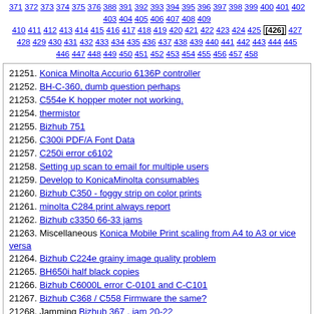371 372 373 374 375 376 388 391 392 393 394 395 396 397 398 399 400 401 402 403 404 405 406 407 408 409 410 411 412 413 414 415 416 417 418 419 420 421 422 423 424 425 [426] 427 428 429 430 431 432 433 434 435 436 437 438 439 440 441 442 443 444 445 446 447 448 449 450 451 452 453 454 455 456 457 458
21251. Konica Minolta Accurio 6136P controller
21252. BH-C-360, dumb question perhaps
21253. C554e K hopper moter not working.
21254. thermistor
21255. Bizhub 751
21256. C300i PDF/A Font Data
21257. C250i error c6102
21258. Setting up scan to email for multiple users
21259. Develop to KonicaMinolta consumables
21260. Bizhub C350 - foggy strip on color prints
21261. minolta C284 print always report
21262. Bizhub c3350 66-33 jams
21263. Miscellaneous Konica Mobile Print scaling from A4 to A3 or vice versa
21264. Bizhub C224e grainy image quality problem
21265. BH650i half black copies
21266. Bizhub C6000L error C-0101 and C-C101
21267. Bizhub C368 / C558 Firmware the same?
21268. Jamming Bizhub 367 , jam 20-22
21269. Konica Minolta C5501 Gears under ADU worn out
21270. Konica c300i error code c6756
21271. Konica minolta c224e
21272. Error Code C 1070 ERROR C-0213
21273. C2070 with Fiery ic-313
21274. Miscellaneous Bizhub 367 No animation guide!